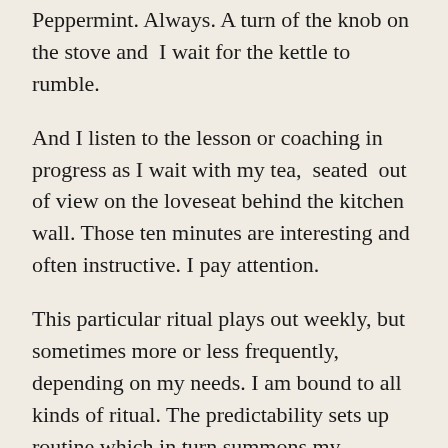Peppermint. Always. A turn of the knob on the stove and I wait for the kettle to rumble.
And I listen to the lesson or coaching in progress as I wait with my tea, seated out of view on the loveseat behind the kitchen wall. Those ten minutes are interesting and often instructive. I pay attention.
This particular ritual plays out weekly, but sometimes more or less frequently, depending on my needs. I am bound to all kinds of ritual. The predictability sets up routine which in turn summons my attention, and inspires me to focus on the task at hand. Ritual may help us create meaning or intention. Rituals strengthen